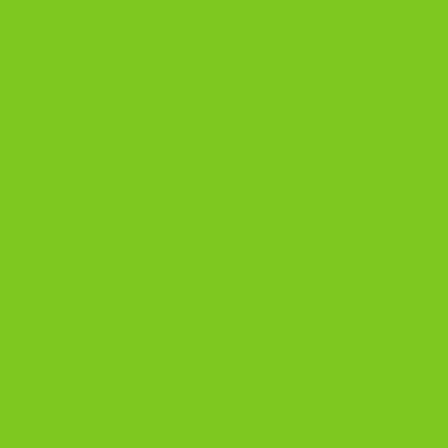[Figure (photo): Top cropped row showing partial handheld game image]
| Image | Brand | Game |
| --- | --- | --- |
| [photo: two handheld LCD devices stacked on wood table] | Videopoche | Sau... / En M... |
| [no image] | Commodoor | Sea... |
| [photo: red mini arcade LCD game] | Mini Arcade | Sea... - Na... |
| [photo: grey handheld LCD game, Ectron] | Ectron | Sub... |